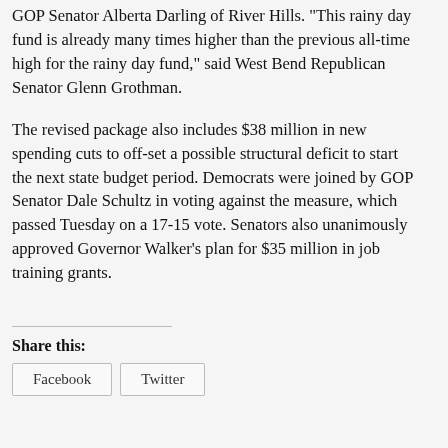GOP Senator Alberta Darling of River Hills. "This rainy day fund is already many times higher than the previous all-time high for the rainy day fund," said West Bend Republican Senator Glenn Grothman.
The revised package also includes $38 million in new spending cuts to off-set a possible structural deficit to start the next state budget period. Democrats were joined by GOP Senator Dale Schultz in voting against the measure, which passed Tuesday on a 17-15 vote. Senators also unanimously approved Governor Walker's plan for $35 million in job training grants.
Share this: